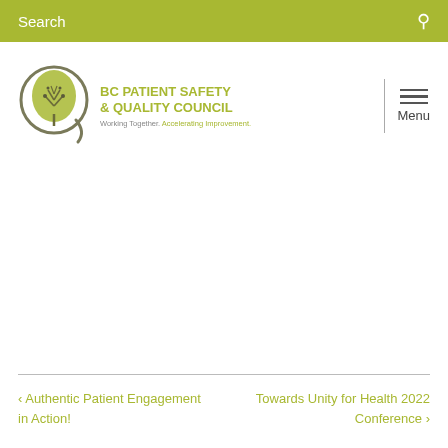Search
[Figure (logo): BC Patient Safety & Quality Council logo with circular tree emblem. Text: BC PATIENT SAFETY & QUALITY COUNCIL. Working Together. Accelerating Improvement.]
< Authentic Patient Engagement in Action!
Towards Unity for Health 2022 Conference >